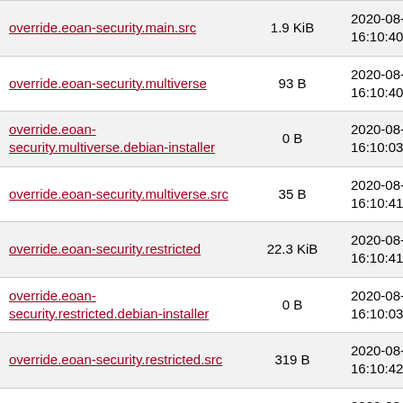| Name | Size | Date |
| --- | --- | --- |
| override.eoan-security.main.src | 1.9 KiB | 2020-08-18 16:10:40 |
| override.eoan-security.multiverse | 93 B | 2020-08-18 16:10:40 |
| override.eoan-security.multiverse.debian-installer | 0 B | 2020-08-18 16:10:03 |
| override.eoan-security.multiverse.src | 35 B | 2020-08-18 16:10:41 |
| override.eoan-security.restricted | 22.3 KiB | 2020-08-18 16:10:41 |
| override.eoan-security.restricted.debian-installer | 0 B | 2020-08-18 16:10:03 |
| override.eoan-security.restricted.src | 319 B | 2020-08-18 16:10:42 |
| override.eoan-security.universe | 63.1 KiB | 2020-08-18 16:10:38 |